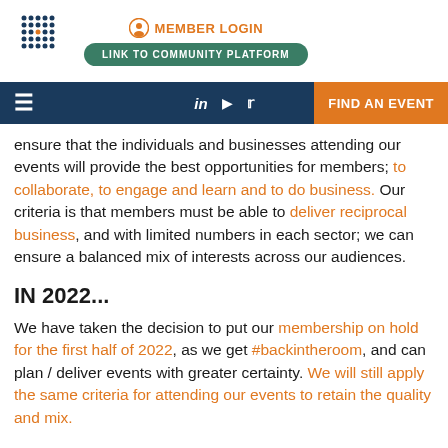MEMBER LOGIN | LINK TO COMMUNITY PLATFORM
FIND AN EVENT
ensure that the individuals and businesses attending our events will provide the best opportunities for members; to collaborate, to engage and learn and to do business.  Our criteria is that members must be able to deliver reciprocal business, and with limited numbers in each sector; we can ensure a balanced mix of interests across our audiences.
IN 2022...
We have taken the decision to put our membership on hold for the first half of 2022, as we get #backintheroom, and can plan / deliver events with greater certainty. We will still apply the same criteria for attending our events to retain the quality and mix.